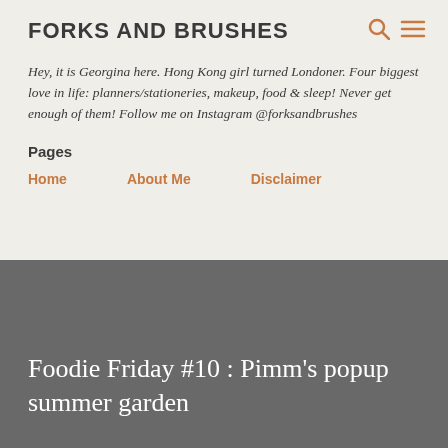FORKS AND BRUSHES
Hey, it is Georgina here. Hong Kong girl turned Londoner. Four biggest love in life: planners/stationeries, makeup, food & sleep! Never get enough of them! Follow me on Instagram @forksandbrushes
Pages
Home
About Me
Disclaimer
Foodie Friday #10 : Pimm's popup summer garden